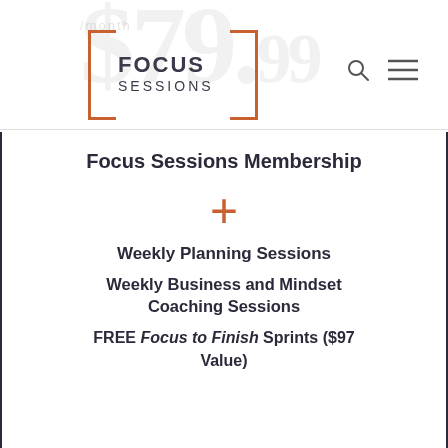[Figure (logo): Focus Sessions logo with orange square brackets around text reading FOCUS SESSIONS, with watermark text $79.99/month in background]
Focus Sessions Membership
+
Weekly Planning Sessions
Weekly Business and Mindset Coaching Sessions
FREE Focus to Finish Sprints ($97 Value)